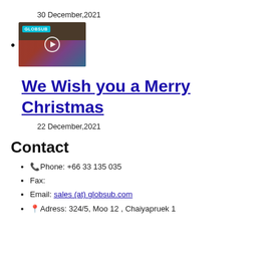30 December,2021
[thumbnail image of Christmas video with GLOBSUB label]
We Wish you a Merry Christmas
22 December,2021
Contact
📞Phone: +66 33 135 035
Fax:
Email: sales (at) globsub.com
📍Adress: 324/5, Moo 12 , Chaiyapruek 1